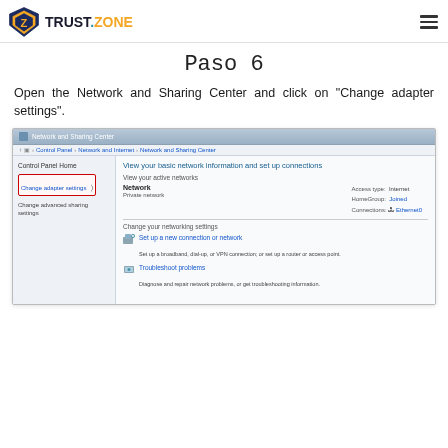TRUST.ZONE
Paso 6
Open the Network and Sharing Center and click on "Change adapter settings".
[Figure (screenshot): Windows Network and Sharing Center screenshot showing the Control Panel navigation, left sidebar with 'Change adapter settings' highlighted in a red rectangle, and the main panel showing network information including Access type: Internet, HomeGroup: Joined, Connections: Ethernet0. Below shows 'Change your networking settings' with options to set up a new connection and troubleshoot problems.]